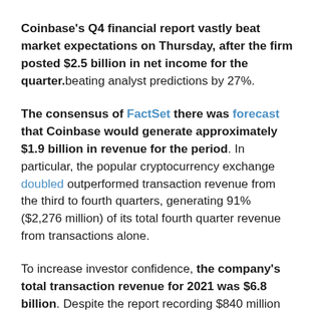Coinbase's Q4 financial report vastly beat market expectations on Thursday, after the firm posted $2.5 billion in net income for the quarter. beating analyst predictions by 27%.
The consensus of FactSet there was forecast that Coinbase would generate approximately $1.9 billion in revenue for the period. In particular, the popular cryptocurrency exchange doubled outperformed transaction revenue from the third to fourth quarters, generating 91% ($2,276 million) of its total fourth quarter revenue from transactions alone.
To increase investor confidence, the company's total transaction revenue for 2021 was $6.8 billion. Despite the report recording $840 million